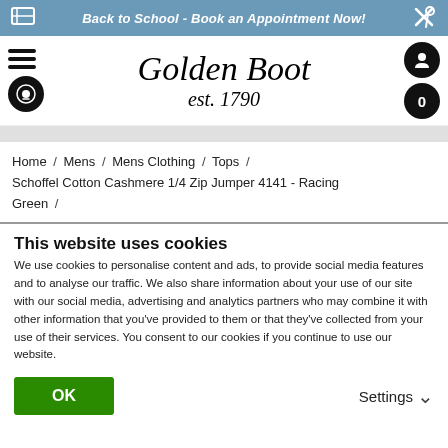Back to School - Book an Appointment Now!
[Figure (logo): Golden Boot est. 1790 script logo with hamburger menu, search, account, and cart icons]
Home / Mens / Mens Clothing / Tops / Schoffel Cotton Cashmere 1/4 Zip Jumper 4141 - Racing Green /
This website uses cookies
We use cookies to personalise content and ads, to provide social media features and to analyse our traffic. We also share information about your use of our site with our social media, advertising and analytics partners who may combine it with other information that you've provided to them or that they've collected from your use of their services. You consent to our cookies if you continue to use our website.
OK
Settings